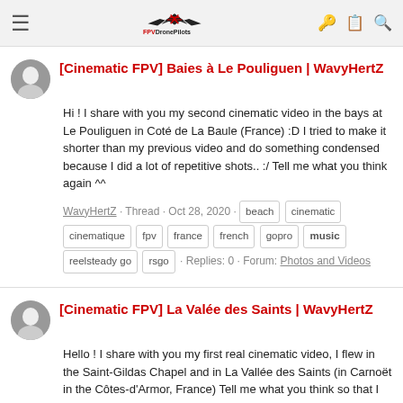FPVDronePilots
[Cinematic FPV] Baies à Le Pouliguen | WavyHertZ
Hi ! I share with you my second cinematic video in the bays at Le Pouliguen in Coté de La Baule (France) :D I tried to make it shorter than my previous video and do something condensed because I did a lot of repetitive shots.. :/ Tell me what you think again ^^
WavyHertZ · Thread · Oct 28, 2020 · beach cinematic cinematique fpv france french gopro music reelsteady go rsgo · Replies: 0 · Forum: Photos and Videos
[Cinematic FPV] La Valée des Saints | WavyHertZ
Hello ! I share with you my first real cinematic video, I flew in the Saint-Gildas Chapel and in La Vallée des Saints (in Carnoët in the Côtes-d'Armor, France) Tell me what you think so that I can improve myself ^^
WavyHertZ · Thread · Oct 21, 2020 · cinematic cinematique fpv france french gopro music reelsteady g rsgo · Replies: 6 · Forum: Photos and